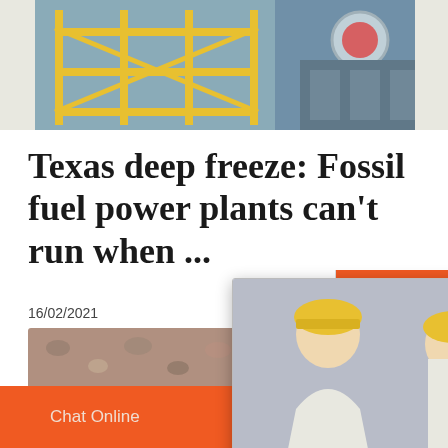[Figure (photo): Industrial facility with yellow scaffolding/walkways, top strip photo]
Texas deep freeze: Fossil fuel power plants can't run when ...
16/02/2021
energy store... generate ele...
[Figure (photo): Live Chat popup overlay with workers in hard hats, showing LIVE CHAT, Click for a Free Consultation, Chat now and Chat later buttons]
[Figure (photo): Right sidebar showing hour online label, customer service agent with headset, Click to chat button, and Enquiry text]
[Figure (photo): Bottom photo strip showing gravel/stones texture]
Chat Online   cywaitml @gmail.com